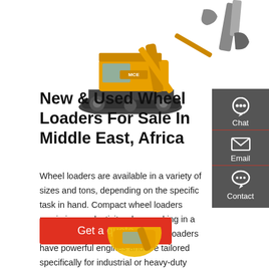[Figure (photo): Yellow excavator/crawler machine on white background, top portion of page]
New & Used Wheel Loaders For Sale In Middle East, Africa
Wheel loaders are available in a variety of sizes and tons, depending on the specific task in hand. Compact wheel loaders maximize productivity when working in a confined space while large wheel loaders have powerful engines and are tailored specifically for industrial or heavy-duty purposes.
[Figure (infographic): Dark grey sidebar on right with Chat (headset icon), Email (envelope icon), and Contact (speech bubble icon) options with red dividers]
Get a quote
[Figure (photo): Partial yellow wheel loader visible at bottom center of page]